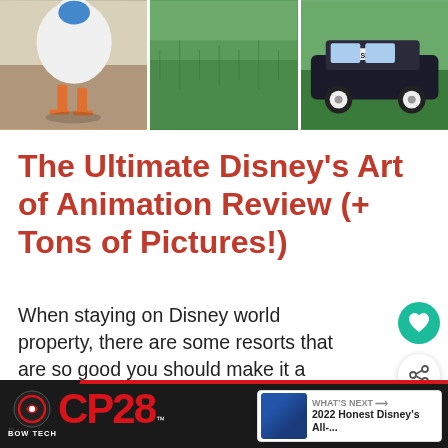[Figure (photo): Three photos in a horizontal strip: a white bird/duck with orange feet on pavement; a green grass lawn; a black and white sheriff police car with hedges in background]
The Ultimate Disney's Art of Animation Review (+ Tons of Pictures!)
When staying on Disney world property, there are some resorts that are so good you should make it a point to stay there, and others that I feel are great b... if you can't afford the next step u...
[Figure (infographic): What's Next popup showing '2022 Honest Disney's All-...' with a thumbnail image]
[Figure (screenshot): Advertisement bar for BowTech CP28 crossbow: black background with red CP28 logo, SHOR DX DEADLIER branding, LEARN MORE button, and BowTech logo]